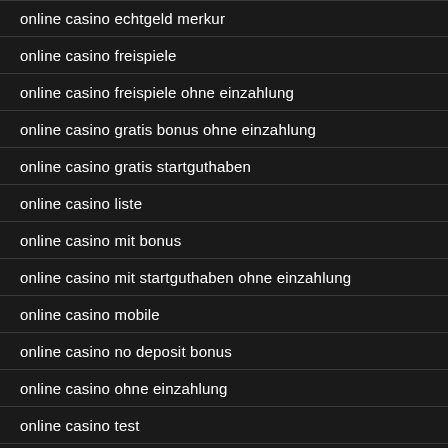online casino echtgeld merkur
online casino freispiele
online casino freispiele ohne einzahlung
online casino gratis bonus ohne einzahlung
online casino gratis startguthaben
online casino liste
online casino mit bonus
online casino mit startguthaben ohne einzahlung
online casino mobile
online casino no deposit bonus
online casino ohne einzahlung
online casino test